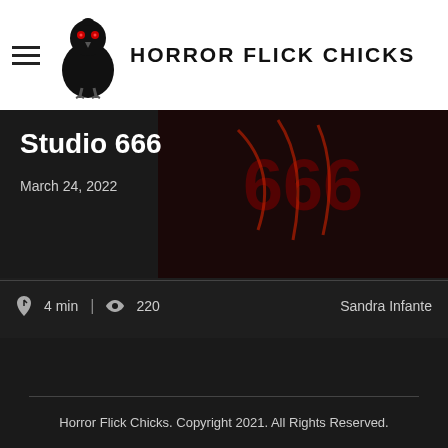Horror Flick Chicks
Studio 666
March 24, 2022
4 min  |  220   Sandra Infante
[Figure (logo): Facebook, Twitter, Google+ social media icons as dark circular buttons]
Horror Flick Chicks. Copyright 2021. All Rights Reserved.